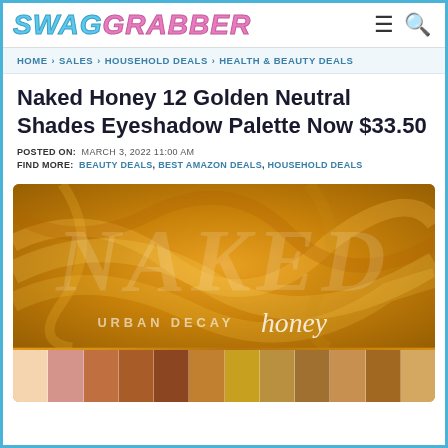SWAG GRABBER
HOME › SALES › HOUSEHOLD DEALS › HEALTH & BEAUTY DEALS
Naked Honey 12 Golden Neutral Shades Eyeshadow Palette Now $33.50
POSTED ON: MARCH 3, 2022 11:00 AM
FIND MORE: BEAUTY DEALS, BEST AMAZON DEALS, HOUSEHOLD DEALS
[Figure (photo): Urban Decay Naked Honey 12 golden neutral shades eyeshadow palette product photo showing golden/amber swirl packaging with NAKED text and honey script logo, with 12 eyeshadow swatches in warm golden and brown tones at the bottom]